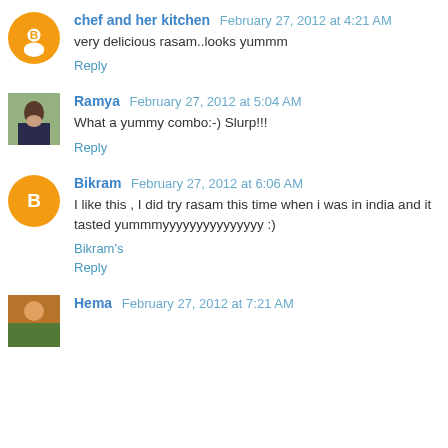chef and her kitchen  February 27, 2012 at 4:21 AM
very delicious rasam..looks yummm
Reply
Ramya  February 27, 2012 at 5:04 AM
What a yummy combo:-) Slurp!!!
Reply
Bikram  February 27, 2012 at 6:06 AM
I like this , I did try rasam this time when i was in india and it tasted yummmyyyyyyyyyyyyyyy :)
Bikram's
Reply
Hema  February 27, 2012 at 7:21 AM